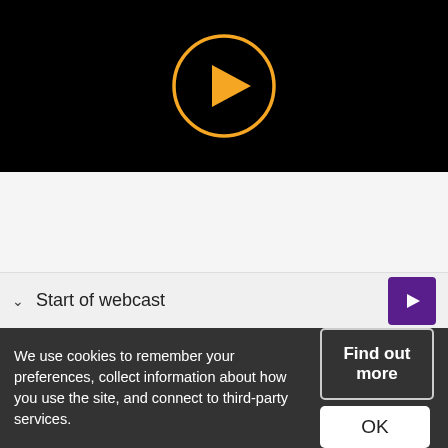[Figure (screenshot): Black video player with orange play button (circle with triangle) centered on black background]
Start of webcast
We use cookies to remember your preferences, collect information about how you use the site, and connect to third-party services.
Find out more
OK